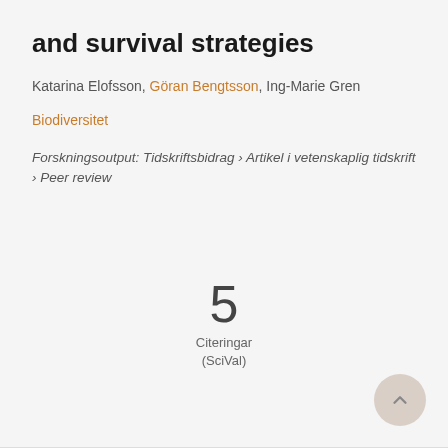and survival strategies
Katarina Elofsson, Göran Bengtsson, Ing-Marie Gren
Biodiversitet
Forskningsoutput: Tidskriftsbidrag › Artikel i vetenskaplig tidskrift › Peer review
5
Citeringar
(SciVal)